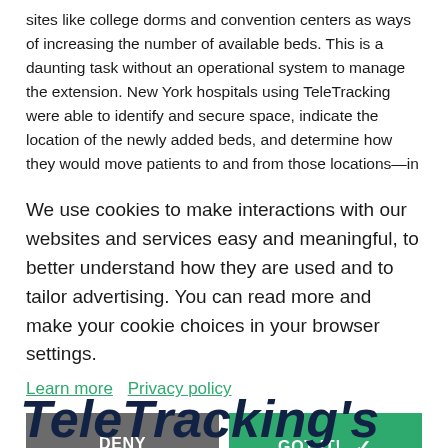sites like college dorms and convention centers as ways of increasing the number of available beds. This is a daunting task without an operational system to manage the extension. New York hospitals using TeleTracking were able to identify and secure space, indicate the location of the newly added beds, and determine how they would move patients to and from those locations—in 24 hours. And because of the visibility that TeleTracking provides, those health systems were able to load-
We use cookies to make interactions with our websites and services easy and meaningful, to better understand how they are used and to tailor advertising. You can read more and make your cookie choices in your browser settings.
Learn more   Privacy policy
DENY   GOT IT! ✓
TeleTracking's